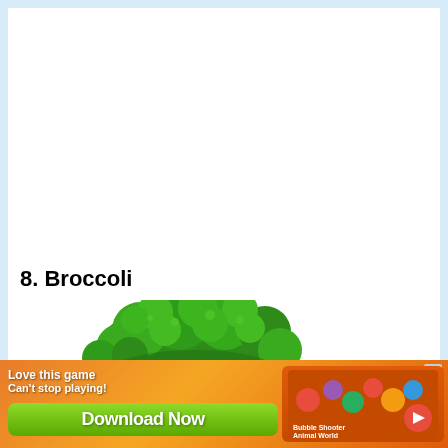8. Broccoli
[Figure (photo): A fresh green broccoli head photographed from a slightly elevated angle against a white background, partially visible at the bottom of the page.]
[Figure (screenshot): Mobile advertisement banner for a 'Bubble Shooter Animal World' game. Orange gradient background with text 'Love this game Can't stop playing!' and a green 'Download Now' button. Game icon visible on the right side. Close button (X) in the top right corner.]